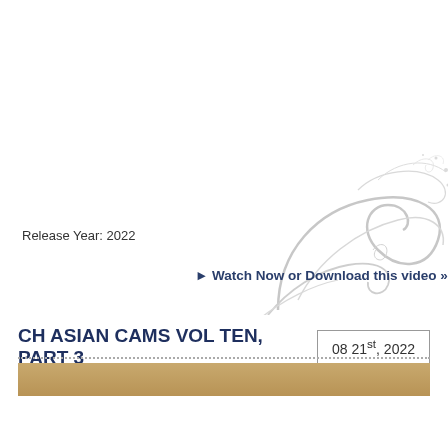Release Year: 2022
[Figure (illustration): Decorative silver swirl/flourish ornament in upper right area]
► Watch Now or Download this video »
CH ASIAN CAMS VOL TEN, PART 3
08 21st, 2022
[Figure (photo): Partial thumbnail image of a person, tan/beige background]